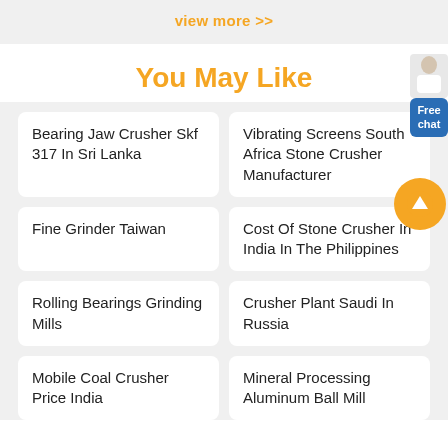view more >>
You May Like
Bearing Jaw Crusher Skf 317 In Sri Lanka
Vibrating Screens South Africa Stone Crusher Manufacturer
Fine Grinder Taiwan
Cost Of Stone Crusher In India In The Philippines
Rolling Bearings Grinding Mills
Crusher Plant Saudi In Russia
Mobile Coal Crusher Price India
Mineral Processing Aluminum Ball Mill